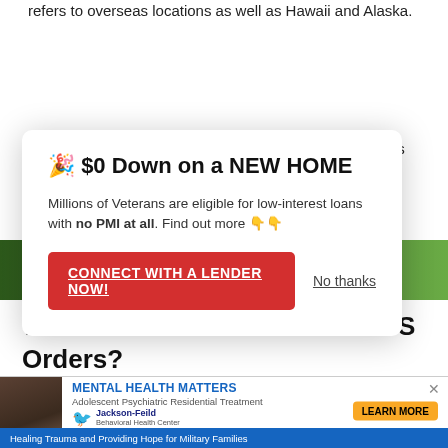refers to overseas locations as well as Hawaii and Alaska.
The tax-free PCS service member stationed OCONUS is
[Figure (infographic): Advertisement popup modal with white background and drop shadow. Title: 🎉 $0 Down on a NEW HOME. Body text: Millions of Veterans are eligible for low-interest loans with no PMI at all. Find out more 👇👇. Red button: CONNECT WITH A LENDER NOW! and 'No thanks' link.]
[Figure (photo): Green forest banner image with DiscoverTheForest.org text overlay]
When Do You Receive OCONUS Orders?
If you anticipate orders for an OCONUS PCS, downsize and th... ion as your c... our OCON...
[Figure (infographic): Bottom advertisement banner for Jackson-Feild Behavioral Health. Title: MENTAL HEALTH MATTERS. Subtitle: Adolescent Psychiatric Residential Treatment. Bottom blue bar: Healing Trauma and Providing Hope for Military Families. Yellow Learn More button. X close button.]